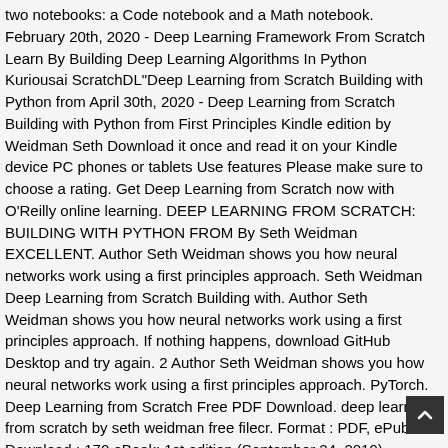two notebooks: a Code notebook and a Math notebook. February 20th, 2020 - Deep Learning Framework From Scratch Learn By Building Deep Learning Algorithms In Python Kuriousai ScratchDL"Deep Learning from Scratch Building with Python from April 30th, 2020 - Deep Learning from Scratch Building with Python from First Principles Kindle edition by Weidman Seth Download it once and read it on your Kindle device PC phones or tablets Use features Please make sure to choose a rating. Get Deep Learning from Scratch now with O'Reilly online learning. DEEP LEARNING FROM SCRATCH: BUILDING WITH PYTHON FROM By Seth Weidman EXCELLENT. Author Seth Weidman shows you how neural networks work using a first principles approach. Seth Weidman Deep Learning from Scratch Building with. Author Seth Weidman shows you how neural networks work using a first principles approach. If nothing happens, download GitHub Desktop and try again. 2 Author Seth Weidman shows you how neural networks work using a first principles approach. PyTorch. Deep Learning from Scratch Free PDF Download. deep learning from scratch by seth weidman free filecr. Format : PDF, ePub Download : 170 eBook; 1st edition (September 24, 2019) Language: English ISBN-10: 1492041416 ISBN-13: 978-1492041412 eBook Description: Deep Learning from Scratch: Building with Python from First Principles. This book provides a comprehensive introduction for data scientists and software engineers with machine learning experience. in private repositories. The print version of this textbook is ISBN: